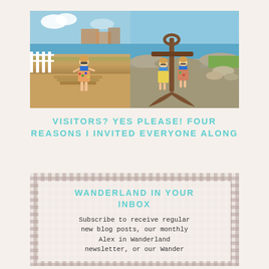[Figure (photo): Two travel photos side by side: left shows a woman in a blue bikini top and floral skirt standing on a boardwalk near a marina with white picket fence; right shows two women posing next to a large rusty anchor near the water.]
VISITORS? YES PLEASE! FOUR REASONS I INVITED EVERYONE ALONG
WANDERLAND IN YOUR INBOX
Subscribe to receive regular new blog posts, our monthly Alex in Wanderland newsletter, or our Wander